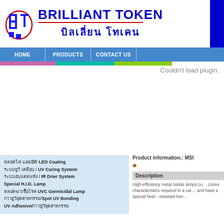[Figure (logo): Brilliant Token company logo with BT letters graphic and Thai/English brand name]
[Figure (screenshot): Navigation bar with HOME, PRODUCTS, CONTACT US buttons in blue with colored underline strips]
Couldn't load plugin.
หลอดไฟ แอลอีดี/ LED Coating
ระบบยูวี เคลือบ / UV Curing System
ระบบอบแดดแห้ง / IR Drier System
Special H.I.D. Lamp
หลอดฆ่าเชื้อโรค UVC Germicidal Lamp
กาวยูวีอุตสาหกรรม/Spot UV Bonding
UV Adhesive/กาวยูวีอุตสาหกรรม
Product information.: MSI
Description
High-efficiency metal halide lamps colour characteristics required in a variety and have a special heat - resistant bon